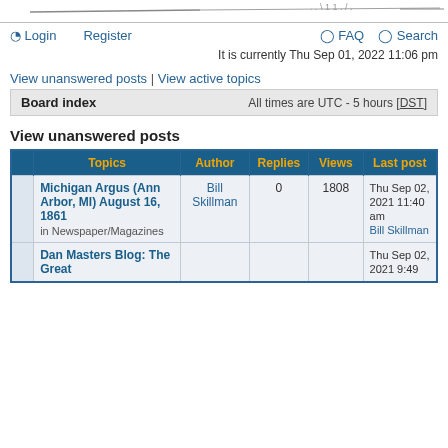Login   Register   FAQ   Search
It is currently Thu Sep 01, 2022 11:06 pm
View unanswered posts | View active topics
|  | Topics | Author | Replies | Views | Last post |
| --- | --- | --- | --- | --- | --- |
|  | Michigan Argus (Ann Arbor, MI) August 16, 1861 in Newspaper/Magazines | Bill Skillman | 0 | 1808 | Thu Sep 02, 2021 11:40 am Bill Skillman |
|  | Dan Masters Blog: The Great |  |  |  | Thu Sep 02, 2021 9:49 |
View unanswered posts
Board index   All times are UTC - 5 hours [DST]